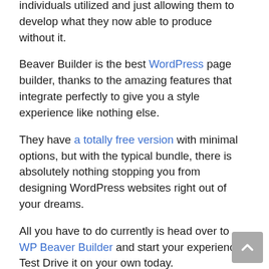individuals utilized and just allowing them to develop what they now able to produce without it.
Beaver Builder is the best WordPress page builder, thanks to the amazing features that integrate perfectly to give you a style experience like nothing else.
They have a totally free version with minimal options, but with the typical bundle, there is absolutely nothing stopping you from designing WordPress websites right out of your dreams.
All you have to do currently is head over to WP Beaver Builder and start your experience. Test Drive it on your own today.